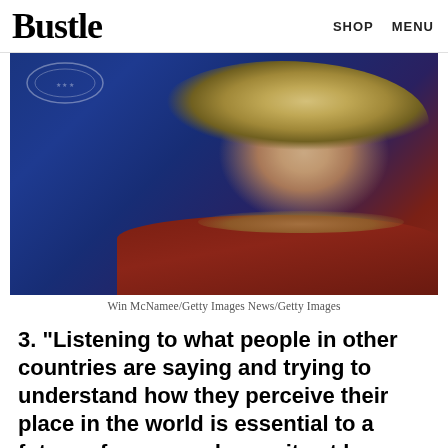Bustle   SHOP   MENU
[Figure (photo): Woman with blonde hair wearing a dark red top and pearl necklace, posed against a dark blue background, looking at camera]
Win McNamee/Getty Images News/Getty Images
3. "Listening to what people in other countries are saying and trying to understand how they perceive their place in the world is essential to a future of peace and security at home and